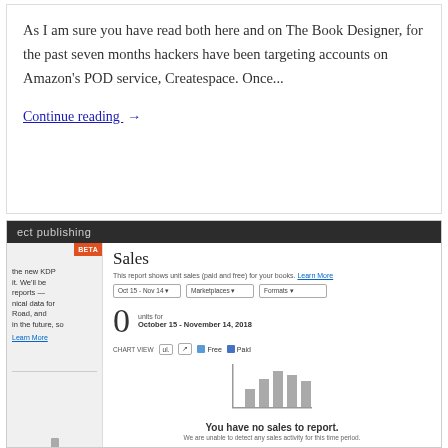As I am sure you have read both here and on The Book Designer, for the past seven months hackers have been targeting accounts on Amazon's POD service, Createspace. Once...
Continue reading →
[Figure (screenshot): Screenshot of Amazon KDP Sales dashboard showing a sales report with 0 units sold for October 15 - November 14, 2018 across all marketplaces and formats. A bar chart placeholder reads 'You have no sales to report. We are unable to detect any sales activity for this time period.']